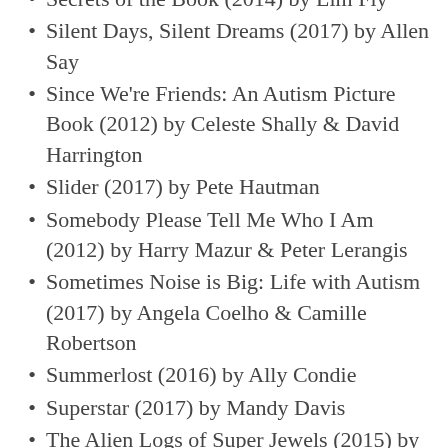Secrets of the Book (2014) by Lim Fly
Silent Days, Silent Dreams (2017) by Allen Say
Since We're Friends: An Autism Picture Book (2012) by Celeste Shally & David Harrington
Slider (2017) by Pete Hautman
Somebody Please Tell Me Who I Am (2012) by Harry Mazur & Peter Lerangis
Sometimes Noise is Big: Life with Autism (2017) by Angela Coelho & Camille Robertson
Summerlost (2016) by Ally Condie
Superstar (2017) by Mandy Davis
The Alien Logs of Super Jewels (2015) by B. Bradshaw & Travis Hanson
The Curious Incident of the Dog in the Night-Time (2003) by Mark Haddon
The Emperor, C'est Moi (2015) by Hugo